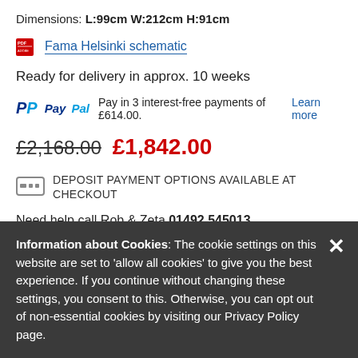Dimensions: L:99cm W:212cm H:91cm
Fama Helsinki schematic
Ready for delivery in approx. 10 weeks
PayPal Pay in 3 interest-free payments of £614.00. Learn more
£2,168.00 £1,842.00
DEPOSIT PAYMENT OPTIONS AVAILABLE AT CHECKOUT
Need help call Rob & Zeta 01492 545013
Information about Cookies: The cookie settings on this website are set to 'allow all cookies' to give you the best experience. If you continue without changing these settings, you consent to this. Otherwise, you can opt out of non-essential cookies by visiting our Privacy Policy page.